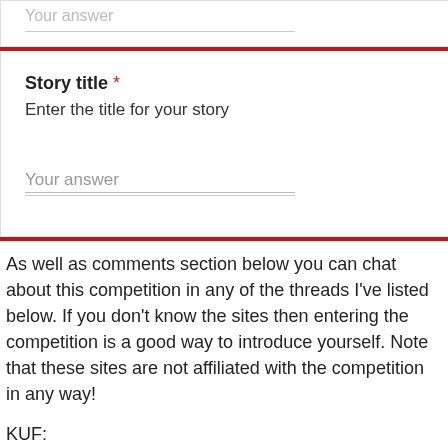Your answer
Story title *
Enter the title for your story
Your answer
As well as comments section below you can chat about this competition in any of the threads I've listed below. If you don't know the sites then entering the competition is a good way to introduce yourself. Note that these sites are not affiliated with the competition in any way!
KUF: http://www.kuforum.co.uk/kindleusersforum/thread-13760.html
Goodreads (UK Amazon kindle Forum group): http://www.goodreads.com/topic/show/977021-michael-brookes-horror-science-fiction